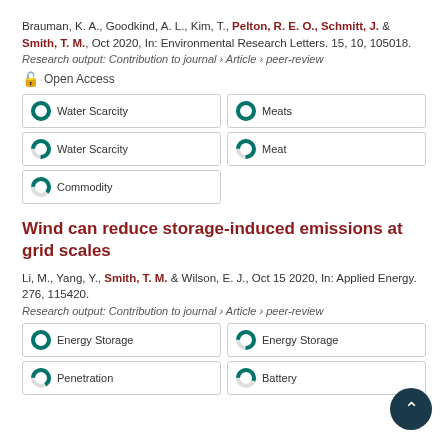Brauman, K. A., Goodkind, A. L., Kim, T., Pelton, R. E. O., Schmitt, J. & Smith, T. M., Oct 2020, In: Environmental Research Letters. 15, 10, 105018.
Research output: Contribution to journal › Article › peer-review
Open Access
Water Scarcity
Meats
Water Scarcity
Meat
Commodity
Wind can reduce storage-induced emissions at grid scales
Li, M., Yang, Y., Smith, T. M. & Wilson, E. J., Oct 15 2020, In: Applied Energy. 276, 115420.
Research output: Contribution to journal › Article › peer-review
Energy Storage
Energy Storage
Penetration
Battery